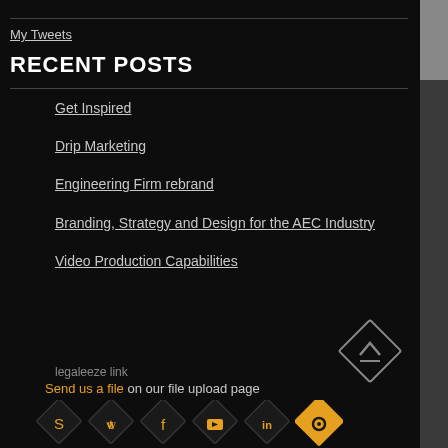My Tweets
RECENT POSTS
Get Inspired
Drip Marketing
Engineering Firm rebrand
Branding, Strategy and Design for the AEC Industry
Video Production Capabilities
legaleeze link  Send us a file  on our file upload page